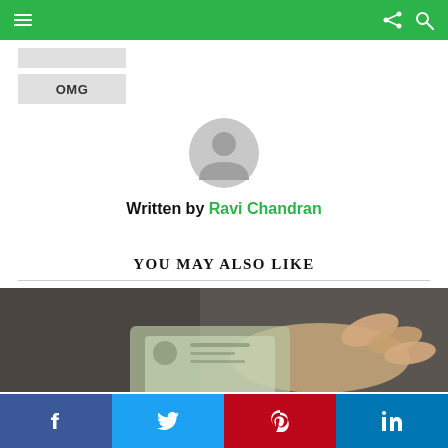Navigation bar with hamburger menu, share icon, and search icon
(unlabeled tab button)
OMG
[Figure (illustration): Generic user avatar icon in gray]
Written by Ravi Chandran
YOU MAY ALSO LIKE
[Figure (photo): Hands holding Singapore currency banknotes]
Social share buttons: Facebook, Twitter, Pinterest, LinkedIn